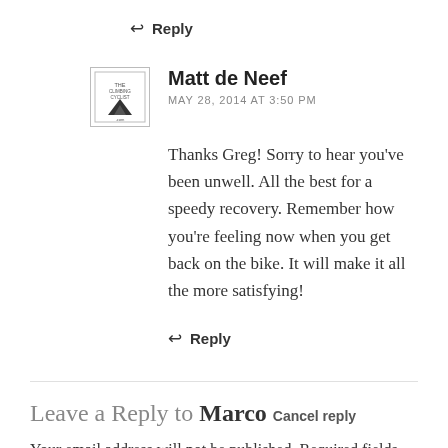↩ Reply
Matt de Neef
MAY 28, 2014 AT 3:50 PM
Thanks Greg! Sorry to hear you've been unwell. All the best for a speedy recovery. Remember how you're feeling now when you get back on the bike. It will make it all the more satisfying!
↩ Reply
Leave a Reply to Marco Cancel reply
Your email address will not be published. Required fields